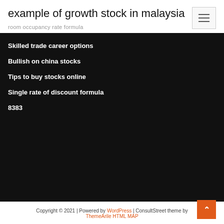example of growth stock in malaysia
room occupancy rate formula
Skilled trade career options
Bullish on china stocks
Tips to buy stocks online
Single rate of discount formula
8383
Copyright © 2021 | Powered by WordPress | ConsultStreet theme by ThemeArile HTML MAP